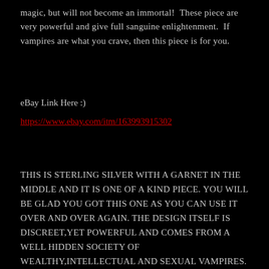magic, but will not become an immortal!  These piece are very powerful and give full sanguine enlightenment.  If vampires are what you crave, then this piece is for you.
eBay Link Here :)
https://www.ebay.com/itm/163993915302
THIS IS STERLING SILVER WITH A GARNET IN THE MIDDLE AND IT IS ONE OF A KIND PIECE. YOU WILL BE GLAD YOU GOT THIS ONE AS YOU CAN USE IT OVER AND OVER AGAIN. THE DESIGN ITSELF IS DISCREET,YET POWERFUL AND COMES FROM A WELL HIDDEN SOCIETY OF WEALTHY,INTELLECTUAL AND SEXUAL VAMPIRES. IF